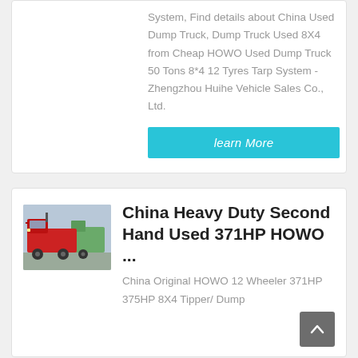System, Find details about China Used Dump Truck, Dump Truck Used 8X4 from Cheap HOWO Used Dump Truck 50 Tons 8*4 12 Tyres Tarp System - Zhengzhou Huihe Vehicle Sales Co., Ltd.
learn More
[Figure (photo): Photo of red HOWO heavy duty trucks parked in a lot]
China Heavy Duty Second Hand Used 371HP HOWO ...
China Original HOWO 12 Wheeler 371HP 375HP 8X4 Tipper/ Dump